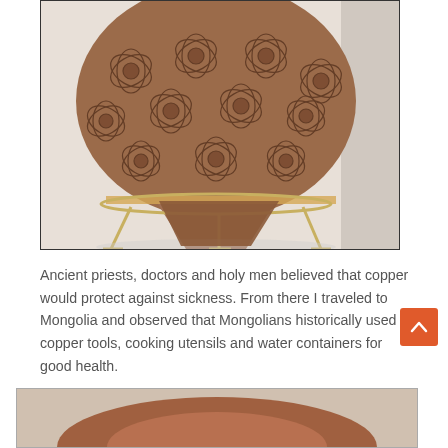[Figure (photo): Ancient ceramic vessel with floral/geometric incised pattern, brownish-reddish color, sitting on a metal display stand with three legs. The vessel has a rounded body tapering to a point at the bottom, supported by the stand.]
Ancient priests, doctors and holy men believed that copper would protect against sickness. From there I traveled to Mongolia and observed that Mongolians historically used copper tools, cooking utensils and water containers for good health.
[Figure (photo): Partial view of a copper or terracotta rounded object, brownish-red color, partially visible at bottom of page.]